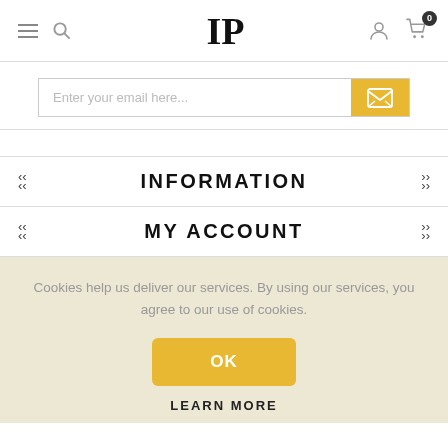IP logo with hamburger menu, search, user and cart icons
Enter your email here...
INFORMATION
MY ACCOUNT
Cookies help us deliver our services. By using our services, you agree to our use of cookies.
OK
LEARN MORE